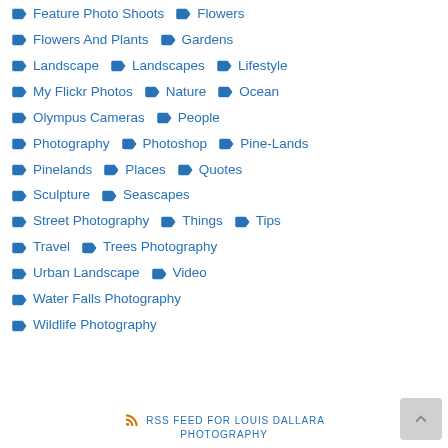Feature Photo Shoots
Flowers
Flowers And Plants
Gardens
Landscape
Landscapes
Lifestyle
My Flickr Photos
Nature
Ocean
Olympus Cameras
People
Photography
Photoshop
Pine-Lands
Pinelands
Places
Quotes
Sculpture
Seascapes
Street Photography
Things
Tips
Travel
Trees Photography
Urban Landscape
Video
Water Falls Photography
Wildlife Photography
RSS FEED FOR LOUIS DALLARA PHOTOGRAPHY